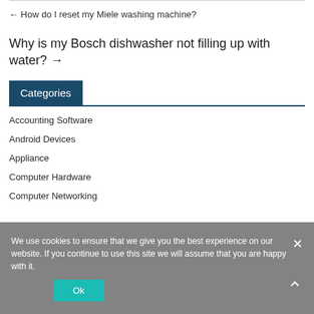← How do I reset my Miele washing machine?
Why is my Bosch dishwasher not filling up with water? →
Categories
Accounting Software
Android Devices
Appliance
Computer Hardware
Computer Networking
We use cookies to ensure that we give you the best experience on our website. If you continue to use this site we will assume that you are happy with it.
Ok